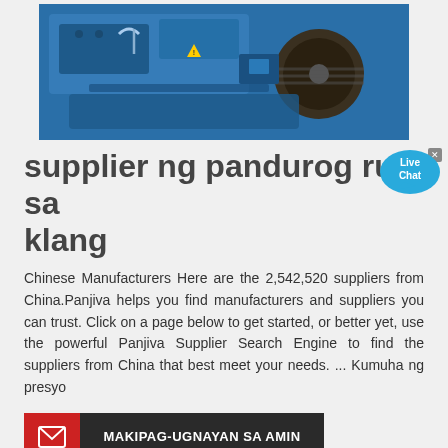[Figure (photo): Blue industrial crushing/grinding machine photographed in a factory setting]
supplier ng pandurog run sa klang
Chinese Manufacturers Here are the 2,542,520 suppliers from China.Panjiva helps you find manufacturers and suppliers you can trust. Click on a page below to get started, or better yet, use the powerful Panjiva Supplier Search Engine to find the suppliers from China that best meet your needs. ... Kumuha ng presyo
[Figure (infographic): Contact button with envelope icon and text MAKIPAG-UGNAYAN SA AMIN on dark background with red icon box]
[Figure (photo): Two industrial machinery photos side by side: orange crane/lift equipment on left, large gear wheel on right]